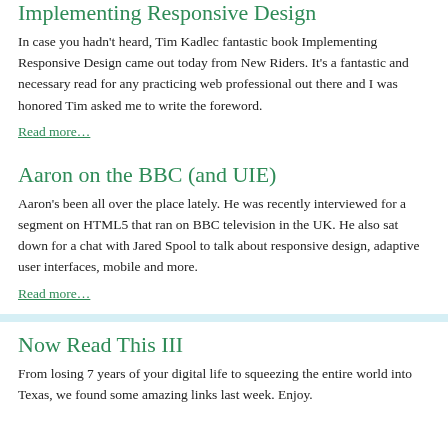Implementing Responsive Design
In case you hadn't heard, Tim Kadlec fantastic book Implementing Responsive Design came out today from New Riders. It's a fantastic and necessary read for any practicing web professional out there and I was honored Tim asked me to write the foreword.
Read more…
Aaron on the BBC (and UIE)
Aaron's been all over the place lately. He was recently interviewed for a segment on HTML5 that ran on BBC television in the UK. He also sat down for a chat with Jared Spool to talk about responsive design, adaptive user interfaces, mobile and more.
Read more…
Now Read This III
From losing 7 years of your digital life to squeezing the entire world into Texas, we found some amazing links last week. Enjoy.